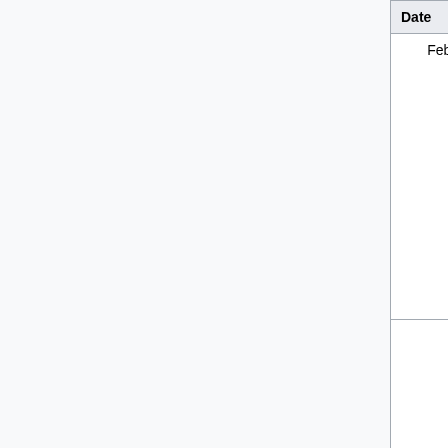| Date | Time | Title | Desc |
| --- | --- | --- | --- |
| February 24 | 9am EST / 2pm UTC | Glitter Meetup: Pluggable Transports | Glitter Meetup: the w... town... the In... Freed... comn... happ... on th... Squa... Read Here |
|  |  |  | The M Monthly Meet bring togeth folks |